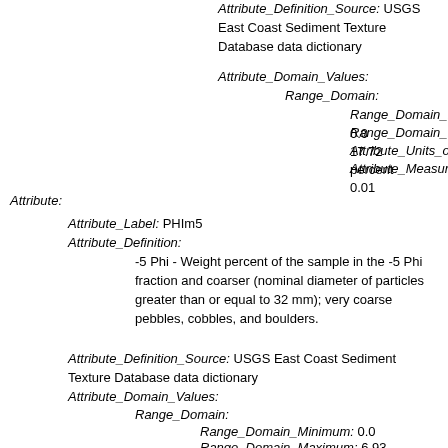Attribute_Definition_Source: USGS East Coast Sediment Texture Database data dictionary
Attribute_Domain_Values:
Range_Domain:
Range_Domain_Minimum: 0.0
Range_Domain_Maximum: 17.72
Attribute_Units_of_Measure: percent
Attribute_Measurement_Resolution: 0.01
Attribute:
Attribute_Label: PHIm5
Attribute_Definition:
-5 Phi - Weight percent of the sample in the -5 Phi fraction and coarser (nominal diameter of particles greater than or equal to 32 mm); very coarse pebbles, cobbles, and boulders.
Attribute_Definition_Source: USGS East Coast Sediment Texture Database data dictionary
Attribute_Domain_Values:
Range_Domain:
Range_Domain_Minimum: 0.0
Range_Domain_Maximum: 6.93
Attribute_Units_of_Measure: percent